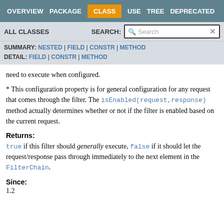OVERVIEW | PACKAGE | CLASS | USE | TREE | DEPRECATED
ALL CLASSES | SEARCH:
SUMMARY: NESTED | FIELD | CONSTR | METHOD
DETAIL: FIELD | CONSTR | METHOD
need to execute when configured.
* This configuration property is for general configuration for any request that comes through the filter. The isEnabled(request,response) method actually determines whether or not if the filter is enabled based on the current request.
Returns:
true if this filter should generally execute, false if it should let the request/response pass through immediately to the next element in the FilterChain.
Since:
1.2